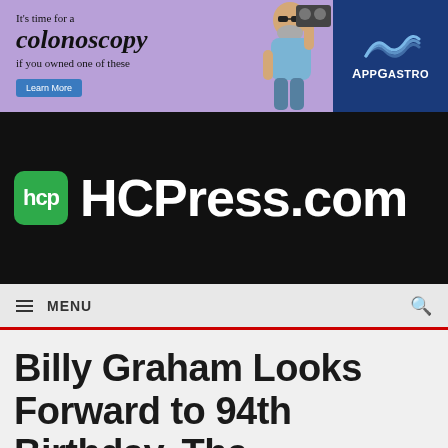[Figure (other): Advertisement banner for AppGastro colonoscopy promotion with purple background, a man holding a boombox, and AppGastro logo on blue background. Text: It's time for a colonoscopy if you owned one of these. Learn More button.]
[Figure (logo): HCPress.com logo on black background with green hcp square icon and large white HCPress.com text]
≡ MENU
Billy Graham Looks Forward to 94th Birthday, The